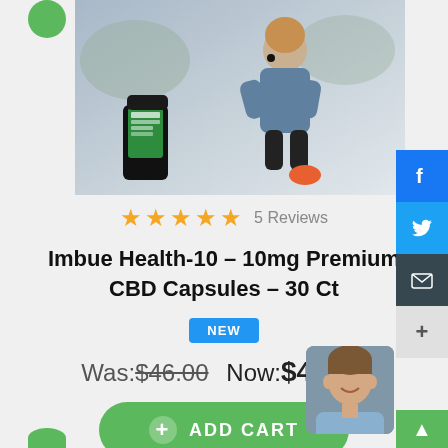[Figure (photo): Product photo: woman in athletic wear crouching outdoors with a CBD supplement bottle (Imbue brand, black with green label) in the foreground]
★★★★★  5 Reviews
Imbue Health-10 – 10mg Premium CBD Capsules – 30 Ct
NEW
Was: $46.00  Now: $42.99
+ ADD CART
[Figure (photo): Small avatar photo of a smiling middle-aged man in a light blue shirt]